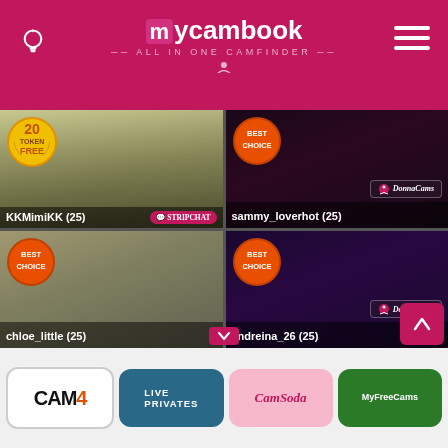[Figure (screenshot): mycambook website header with logo 'mycambook ALL IN ONE CAMFINDER', light bulb icon on left, hamburger menu on right, magenta/pink background]
[Figure (screenshot): Grid of 4 live cam thumbnails: KKMimiKK (25) with Stripchat badge and 20 Token Free badge; sammy_loverhot (25) with DonnaCams badge and Best Choice badge; chloe_little (25) with Best Choice badge; andreina_26 (25) with DonnaCams badge and Best Choice badge]
[Figure (screenshot): Footer with 4 platform logos: CAM4, LIVEPRIVATES, CamSoda, MyFreeCams]